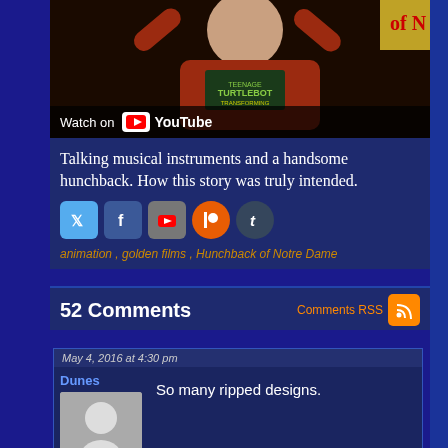[Figure (screenshot): YouTube video thumbnail showing a man in a red shirt with arms raised, wearing a Turtlebot t-shirt, with 'Watch on YouTube' overlay at the bottom]
Talking musical instruments and a handsome hunchback. How this story was truly intended.
[Figure (infographic): Social media sharing icons: Twitter, Facebook, YouTube, Patreon, Tumblr]
animation , golden films , Hunchback of Notre Dame
52 Comments
Comments RSS
May 4, 2016 at 4:30 pm
Dunes
So many ripped designs.